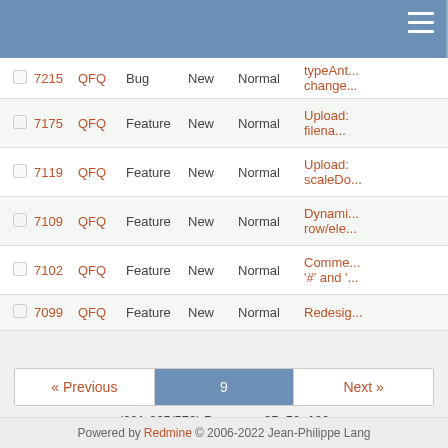Redmine issue tracker header bar
|  | # | Project | Tracker | Status | Priority | Subject |
| --- | --- | --- | --- | --- | --- | --- |
| ☐ | 7215 | QFQ | Bug | New | Normal | typeAnt... change... |
| ☐ | 7175 | QFQ | Feature | New | Normal | Upload: filenames... |
| ☐ | 7119 | QFQ | Feature | New | Normal | Upload: scaleDo... |
| ☐ | 7109 | QFQ | Feature | New | Normal | Dynami... row/ele... |
| ☐ | 7102 | QFQ | Feature | New | Normal | Comme... '#' and '... |
| ☐ | 7099 | QFQ | Feature | New | Normal | Redesig... |
« Previous  9  Next »
(201-225/573) Per page: 25, 50, 100
Also available in: Atom | CSV | PDF
Powered by Redmine © 2006-2022 Jean-Philippe Lang